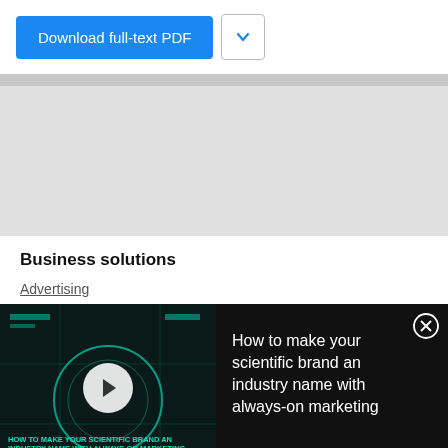[Figure (screenshot): Download full-text PDF button with blue background and a dropdown chevron button]
[Figure (screenshot): Large gray placeholder area (advertisement or content loading area)]
Business solutions
Advertising
[Figure (screenshot): Video banner: 'How to make your scientific brand an industry name with always-on marketing' with teal tech graphics and play button on dark background]
[Figure (screenshot): SCIEX advertisement: Save cost and extend column lifetime, with document thumbnail]